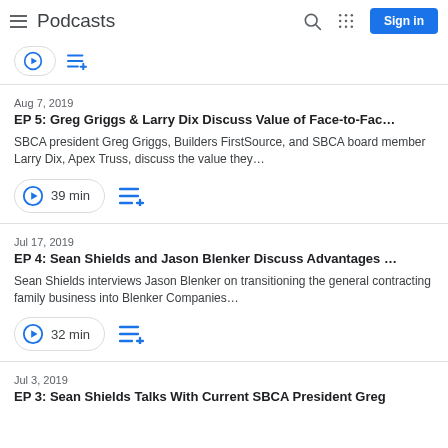Podcasts
Aug 7, 2019
EP 5: Greg Griggs & Larry Dix Discuss Value of Face-to-Fac…
SBCA president Greg Griggs, Builders FirstSource, and SBCA board member Larry Dix, Apex Truss, discuss the value they…
39 min
Jul 17, 2019
EP 4: Sean Shields and Jason Blenker Discuss Advantages …
Sean Shields interviews Jason Blenker on transitioning the general contracting family business into Blenker Companies…
32 min
Jul 3, 2019
EP 3: Sean Shields Talks With Current SBCA President Greg